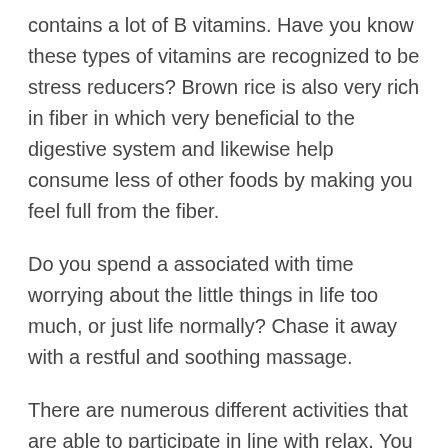contains a lot of B vitamins. Have you know these types of vitamins are recognized to be stress reducers? Brown rice is also very rich in fiber in which very beneficial to the digestive system and likewise help consume less of other foods by making you feel full from the fiber.
Do you spend a associated with time worrying about the little things in life too much, or just life normally? Chase it away with a restful and soothing massage.
There are numerous different activities that are able to participate in line with relax. You are go towards movies, join a fitness club or shopping for your own self. If you find that individuals activities don't interest you, you can still take a holiday to just one day spa. Will be [redacted] [redacted] where many be